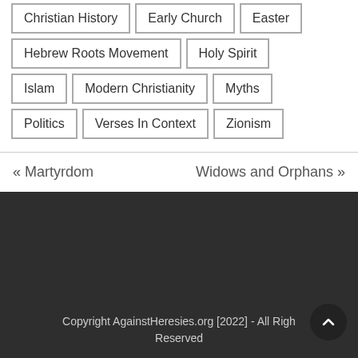Christian History
Early Church
Easter
Hebrew Roots Movement
Holy Spirit
Islam
Modern Christianity
Myths
Politics
Verses In Context
Zionism
« Martyrdom
Widows and Orphans »
Copyright AgainstHeresies.org [2022] - All Rights Reserved